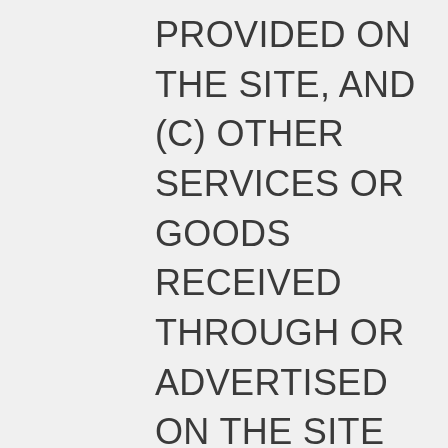PROVIDED ON THE SITE, AND (C) OTHER SERVICES OR GOODS RECEIVED THROUGH OR ADVERTISED ON THE SITE OR WITHIN THE CONTENT. AMPLY MEDIA DISCLAIMS ANY AND ALL LIABILITY FOR THE ACTS, OMISSIONS, AND CONDUCT OF ANY THIRD PARTIES IN CONNECTION WITH YOUR USE OF THE SITE AND ANY